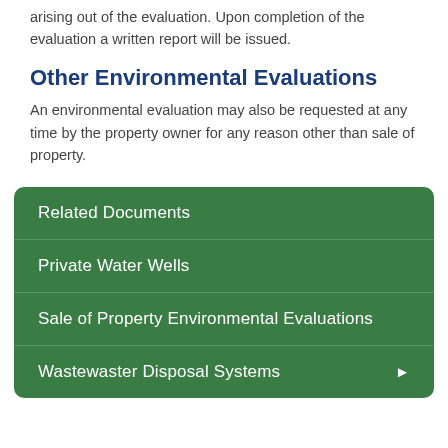arising out of the evaluation. Upon completion of the evaluation a written report will be issued.
Other Environmental Evaluations
An environmental evaluation may also be requested at any time by the property owner for any reason other than sale of property.
Related Documents
Private Water Wells
Sale of Property Environmental Evaluations
Wastewaster Disposal Systems